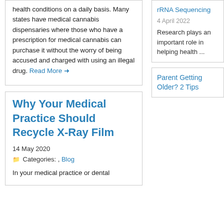health conditions on a daily basis. Many states have medical cannabis dispensaries where those who have a prescription for medical cannabis can purchase it without the worry of being accused and charged with using an illegal drug. Read More →
Why Your Medical Practice Should Recycle X-Ray Film
14 May 2020
Categories: , Blog
In your medical practice or dental
rRNA Sequencing
4 April 2022
Research plays an important role in helping health ...
Parent Getting Older? 2 Tips